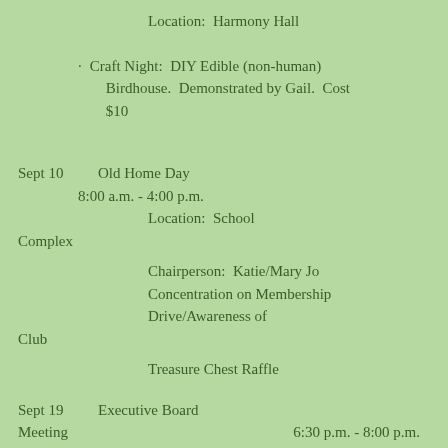Location:  Harmony Hall
Craft Night:  DIY Edible (non-human) Birdhouse.  Demonstrated by Gail.  Cost $10
Sept 10          Old Home Day
         8:00 a.m. - 4:00 p.m.
                   Location:  School Complex
                   Chairperson:  Katie/Mary Jo
                   Concentration on Membership Drive/Awareness of Club
                   Treasure Chest Raffle
Sept 19          Executive Board Meeting          6:30 p.m. - 8:00 p.m.
                   (Donna's House)